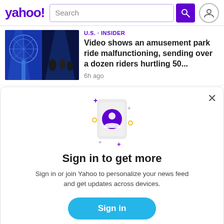yahoo! Search
U.S. · INSIDER
Video shows an amusement park ride malfunctioning, sending over a dozen riders hurtling 50... 6h ago
[Figure (screenshot): Yahoo news feed screenshot showing a sign-in modal with user icon, sign in to get more text, sign in button, and sign up link]
Sign in to get more
Sign in or join Yahoo to personalize your news feed and get updates across devices.